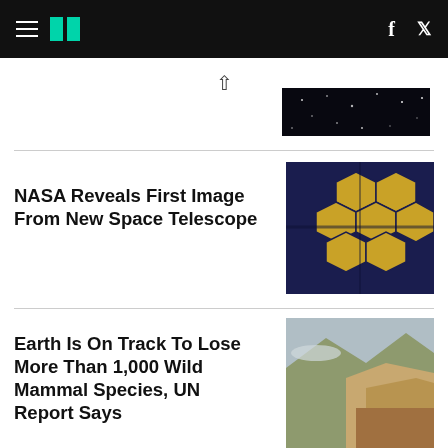HuffPost navigation bar with hamburger menu, logo, Facebook and Twitter icons
[Figure (photo): Dark space/night sky thumbnail image]
NASA Reveals First Image From New Space Telescope
[Figure (photo): James Webb Space Telescope gold hexagonal mirrors close-up]
Earth Is On Track To Lose More Than 1,000 Wild Mammal Species, UN Report Says
[Figure (photo): Aerial view of mountains with deforestation/mining]